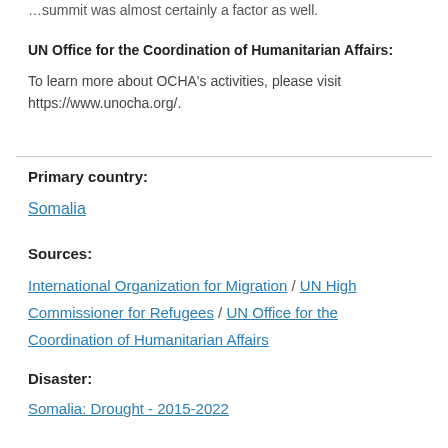…summit was almost certainly a factor as well.
UN Office for the Coordination of Humanitarian Affairs: To learn more about OCHA's activities, please visit https://www.unocha.org/.
Primary country:
Somalia
Sources:
International Organization for Migration / UN High Commissioner for Refugees / UN Office for the Coordination of Humanitarian Affairs
Disaster:
Somalia: Drought - 2015-2022